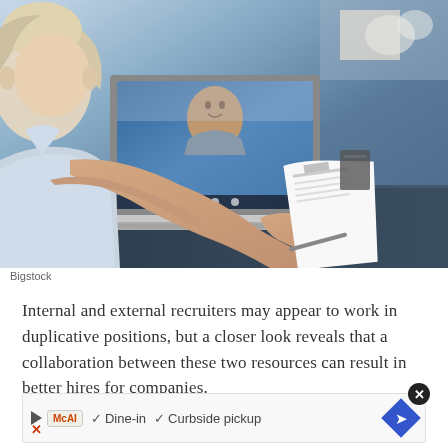[Figure (photo): A blonde woman sitting at a dark desk, holding up a document/resume while conducting a video call on a laptop. The laptop screen shows a smiling man in a grey sweater on the video call. There are papers and a black organizer on the desk in the background.]
Bigstock
Internal and external recruiters may appear to work in duplicative positions, but a closer look reveals that a collaboration between these two resources can result in better hires for companies.
[Figure (other): Advertisement bar with play button, MCAI badge, checkmarks for Dine-in and Curbside pickup, navigation diamond arrow icon, and a close X button]